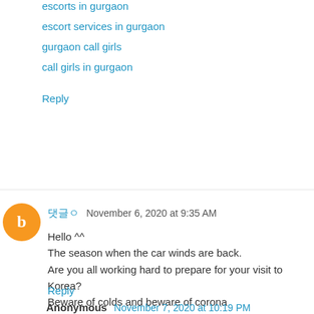escorts in gurgaon
escort services in gurgaon
gurgaon call girls
call girls in gurgaon
Reply
댓글ㅇ November 6, 2020 at 9:35 AM
Hello ^^
The season when the car winds are back.
Are you all working hard to prepare for your visit to Korea?
Beware of colds and beware of corona
I came in to see your site and I liked a lot of useful and good content!
I also run a site, so will you come and see it?
I think I would be very grateful for your feedback. Bye^^
My site address: 댓글ㅇ
Reply
Anonymous November 7, 2020 at 10:19 PM